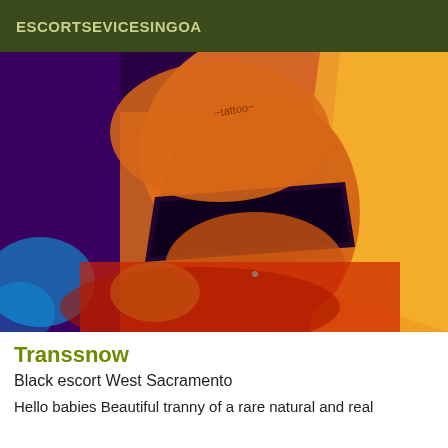ESCORTSEVICESINGOA
[Figure (photo): Close-up photo of a person wearing a black top and yellow/orange jacket, with a tattoo visible on the shoulder, against a purple and orange background.]
Transsnow
Black escort West Sacramento
Hello babies Beautiful tranny of a rare natural and real